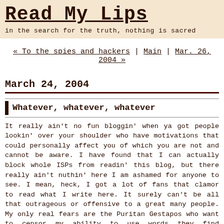Read My Lips
in the search for the truth, nothing is sacred
« To the spies and hackers | Main | Mar. 26, 2004 »
March 24, 2004
Whatever, whatever, whatever
It really ain't no fun bloggin' when ya got people lookin' over your shoulder who have motivations that could personally affect you of which you are not and cannot be aware. I have found that I can actually block whole ISPs from readin' this blog, but there really ain't nuthin' here I am ashamed for anyone to see. I mean, heck, I got a lot of fans that clamor to read what I write here. It surely can't be all that outrageous or offensive to a great many people. My only real fears are the Puritan Gestapos who want to censor my ability to use words they find distasteful and the minions of my opponent who will take my words, strip them of